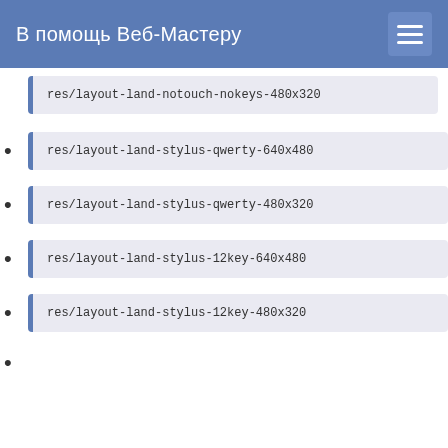В помощь Веб-Мастеру
res/layout-land-notouch-nokeys-480x320
res/layout-land-stylus-qwerty-640x480
res/layout-land-stylus-qwerty-480x320
res/layout-land-stylus-12key-640x480
res/layout-land-stylus-12key-480x320